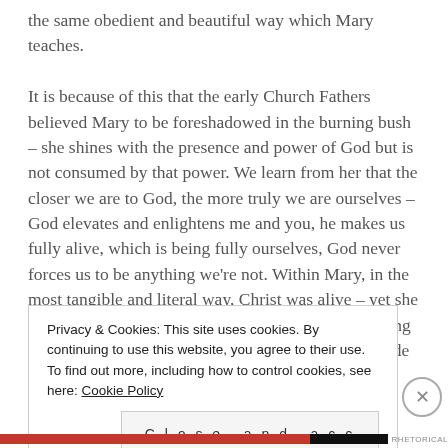the same obedient and beautiful way which Mary teaches.

It is because of this that the early Church Fathers believed Mary to be foreshadowed in the burning bush – she shines with the presence and power of God but is not consumed by that power. We learn from her that the closer we are to God, the more truly we are ourselves – God elevates and enlightens me and you, he makes us fully alive, which is being fully ourselves, God never forces us to be anything we're not. Within Mary, in the most tangible and literal way, Christ was alive – yet she is not overwhelmed or suppressed by Christ's dwelling in her, she is made luminous and glorious, she is made the Mary
Privacy & Cookies: This site uses cookies. By continuing to use this website, you agree to their use.
To find out more, including how to control cookies, see here: Cookie Policy
Close and accept